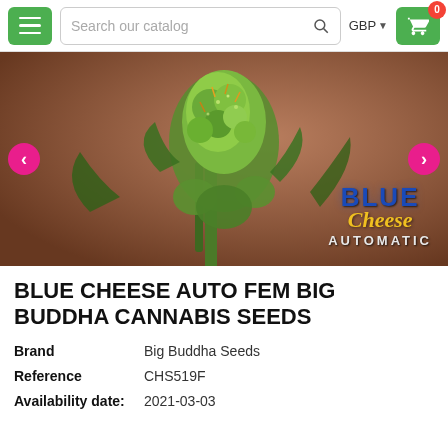Search our catalog | GBP
[Figure (photo): Close-up photo of a cannabis plant bud with Blue Cheese Automatic branding overlay in the lower right corner]
BLUE CHEESE AUTO FEM BIG BUDDHA CANNABIS SEEDS
Brand: Big Buddha Seeds
Reference: CHS519F
Availability date: 2021-03-03